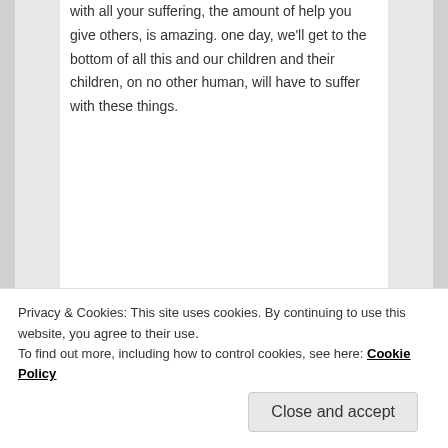with all your suffering, the amount of help you give others, is amazing. one day, we'll get to the bottom of all this and our children and their children, on no other human, will have to suffer with these things.
★ Like
Reply ↓
esmeelafleur on June 12, 2018 at 12:22 PM said:
Privacy & Cookies: This site uses cookies. By continuing to use this website, you agree to their use.
To find out more, including how to control cookies, see here: Cookie Policy
Close and accept